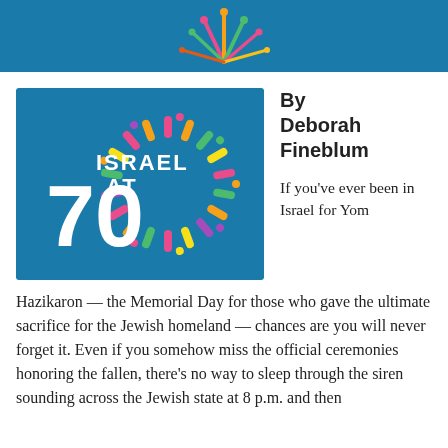[Figure (illustration): Colorful fireworks/confetti illustration on blue header bar background]
[Figure (logo): Israel at 70 logo: white text 'ISRAEL AT 70' with colorful starburst/fireworks rays on blue background]
By Deborah Fineblum
If you've ever been in Israel for Yom Hazikaron — the Memorial Day for those who gave the ultimate sacrifice for the Jewish homeland — chances are you will never forget it. Even if you somehow miss the official ceremonies honoring the fallen, there's no way to sleep through the siren sounding across the Jewish state at 8 p.m. and then